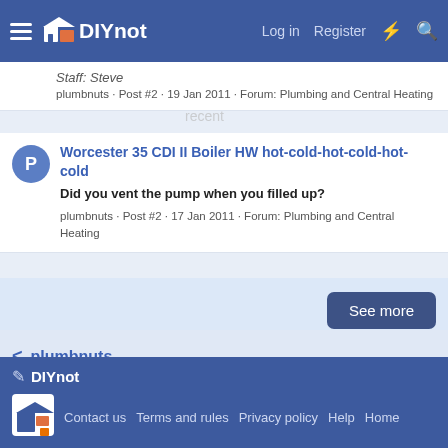DIYnot - Log in - Register
Staff: Steve
plumbnuts · Post #2 · 19 Jan 2011 · Forum: Plumbing and Central Heating
Worcester 35 CDI II Boiler HW hot-cold-hot-cold-hot-cold
Did you vent the pump when you filled up?
plumbnuts · Post #2 · 17 Jan 2011 · Forum: Plumbing and Central Heating
See more
< plumbnuts
DIYnot - Contact us · Terms and rules · Privacy policy · Help · Home